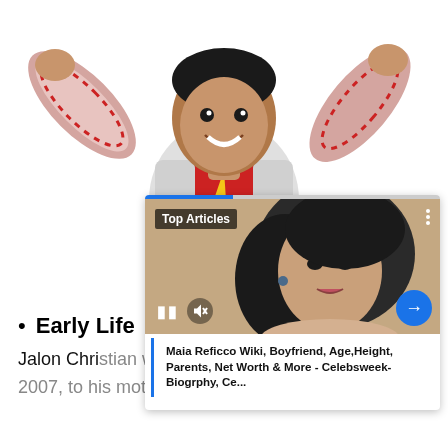[Figure (photo): Young boy in a red superhero costume with lightning bolt, wearing striped pajamas, arms raised in a triumphant pose against white background]
[Figure (screenshot): Top Articles overlay card showing a woman's portrait photo with playback controls, pause button, mute icon, and a blue arrow button. Below image: article title 'Maia Reficco Wiki, Boyfriend, Age, Height, Parents, Net Worth & More - Celebsweek- Biogrphy, Ce...']
Early Life
Jalon Christian was born on September 7,
2007, to his mother, Meghan O'Brien, in